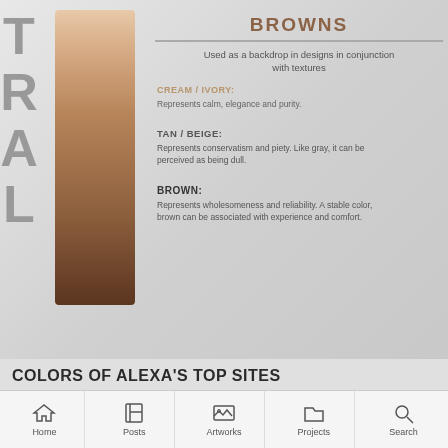BROWNS
Used as a backdrop in designs in conjunction with textures
CREAM / IVORY:
Represents calm, elegance and purity.
TAN / BEIGE:
Represents conservatism and piety. Like gray, it can be perceived as being dull.
BROWN:
Represents wholesomeness and reliability. A stable color, brown can be associated with experience and comfort.
COLORS OF ALEXA'S TOP SITES
Home  Posts  Artworks  Projects  Search